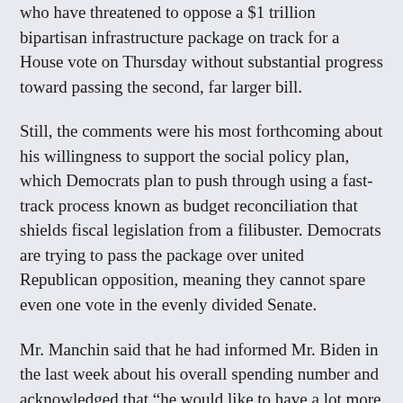who have threatened to oppose a $1 trillion bipartisan infrastructure package on track for a House vote on Thursday without substantial progress toward passing the second, far larger bill.
Still, the comments were his most forthcoming about his willingness to support the social policy plan, which Democrats plan to push through using a fast-track process known as budget reconciliation that shields fiscal legislation from a filibuster. Democrats are trying to pass the package over united Republican opposition, meaning they cannot spare even one vote in the evenly divided Senate.
Mr. Manchin said that he had informed Mr. Biden in the last week about his overall spending number and acknowledged that “he would like to have a lot more than that.”
Mr. Manchin spoke out about his position after the news of